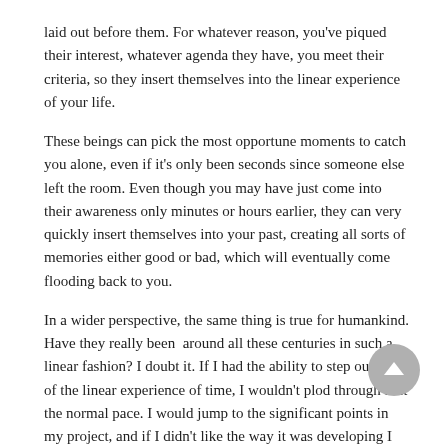laid out before them. For whatever reason, you've piqued their interest, whatever agenda they have, you meet their criteria, so they insert themselves into the linear experience of your life.
These beings can pick the most opportune moments to catch you alone, even if it's only been seconds since someone else left the room. Even though you may have just come into their awareness only minutes or hours earlier, they can very quickly insert themselves into your past, creating all sorts of memories either good or bad, which will eventually come flooding back to you.
In a wider perspective, the same thing is true for humankind. Have they really been  around all these centuries in such a linear fashion? I doubt it. If I had the ability to step outside of the linear experience of time, I wouldn't plod through it at the normal pace. I would jump to the significant points in my project, and if I didn't like the way it was developing I would just  jump back to make some adjustments. What appears to take centuries might only be a few hours work from the alien's perspective, and their whole project might be only be taking up a few years of their own time.
What does this mean for us experiencers? It does give us a new way to